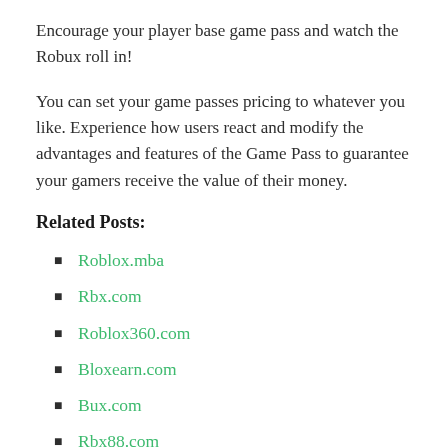Encourage your player base game pass and watch the Robux roll in!
You can set your game passes pricing to whatever you like. Experience how users react and modify the advantages and features of the Game Pass to guarantee your gamers receive the value of their money.
Related Posts:
Roblox.mba
Rbx.com
Roblox360.com
Bloxearn.com
Bux.com
Rbx88.com